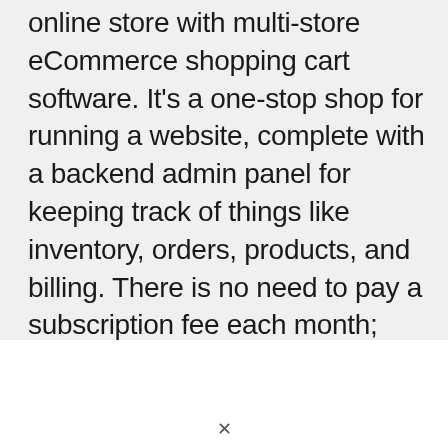online store with multi-store eCommerce shopping cart software. It's a one-stop shop for running a website, complete with a backend admin panel for keeping track of things like inventory, orders, products, and billing. There is no need to pay a subscription fee each month; you can obtain everything you need for a one-time cost.